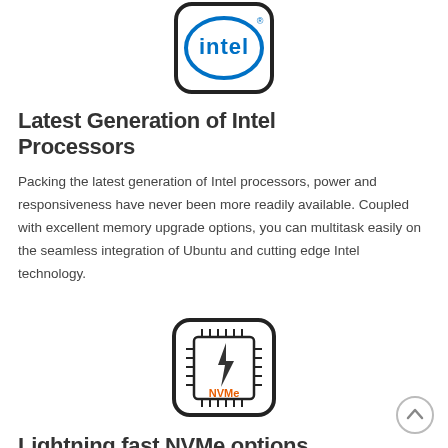[Figure (logo): Intel logo — rounded square outline with Intel circular wordmark in blue]
Latest Generation of Intel Processors
Packing the latest generation of Intel processors, power and responsiveness have never been more readily available. Coupled with excellent memory upgrade options, you can multitask easily on the seamless integration of Ubuntu and cutting edge Intel technology.
[Figure (logo): NVMe chip icon — rounded square outline with a stylized chip with pins and a lightning bolt above an orange NVMe label]
Lightning fast NVMe options
With Ubuntu installed to an SSD as standard, turbo-charges